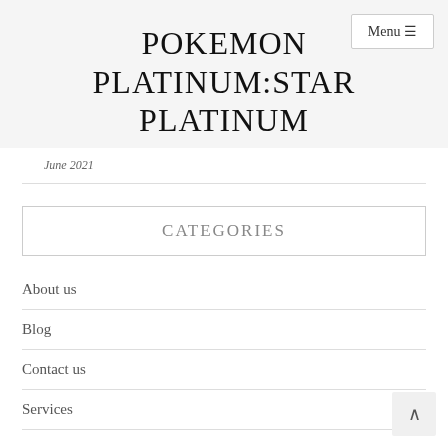POKEMON PLATINUM:STAR PLATINUM
June 2021
CATEGORIES
About us
Blog
Contact us
Services